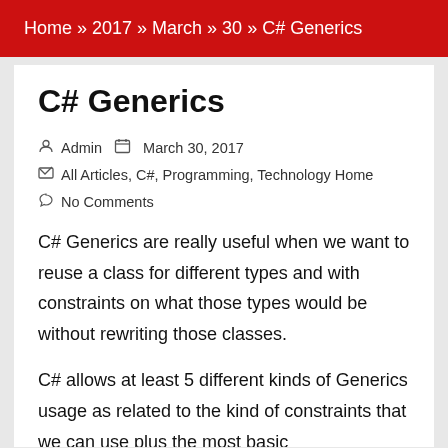Home » 2017 » March » 30 » C# Generics
C# Generics
Admin   March 30, 2017
All Articles, C#, Programming, Technology Home
No Comments
C# Generics are really useful when we want to reuse a class for different types and with constraints on what those types would be without rewriting those classes.
C# allows at least 5 different kinds of Generics usage as related to the kind of constraints that we can use plus the most basic implementations such a simple